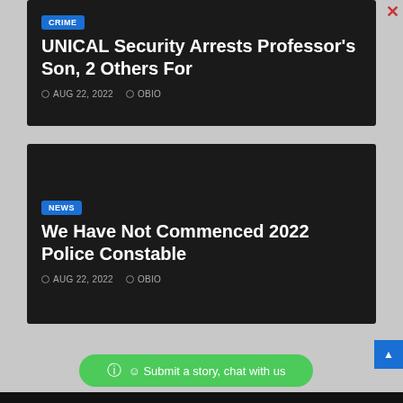[Figure (screenshot): News card with dark background showing CRIME badge, headline 'UNICAL Security Arrests Professor's Son, 2 Others For', date AUG 22, 2022, author OBIO]
[Figure (screenshot): News card with dark background showing NEWS badge, headline 'We Have Not Commenced 2022 Police Constable', date AUG 22, 2022, author OBIO]
Submit a story, chat with us